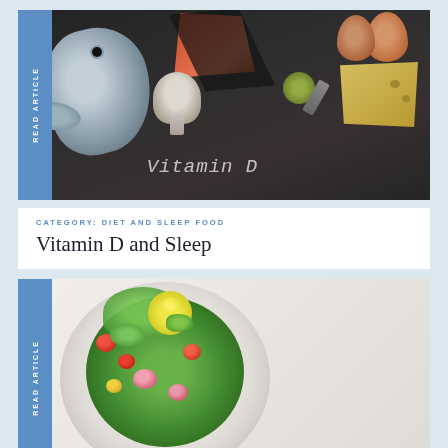[Figure (photo): Food items rich in Vitamin D on a dark slate background: whole fish, salmon fillet, eggs, mushroom, cheese, olives, with 'Vitamin D' written in chalk-style text. A blue 'READ ARTICLE' badge is on the left edge.]
CATEGORY: DIET AND SLEEP FOOD
Vitamin D and Sleep
[Figure (photo): A colorful salad bowl with greens, cherry tomatoes, radishes, lemon slices, and herbs on a light background. Forks visible on the left. A blue 'READ ARTICLE' badge is on the left edge.]